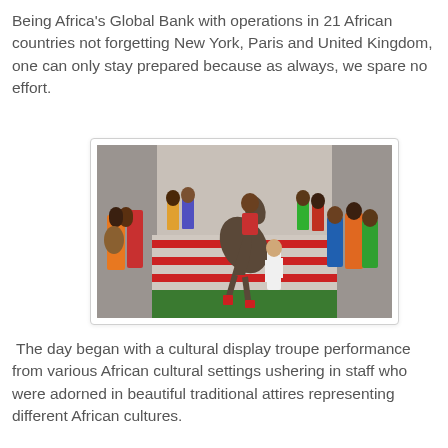Being Africa's Global Bank with operations in 21 African countries not forgetting New York, Paris and United Kingdom, one can only stay prepared because as always, we spare no effort.
[Figure (photo): Cultural display troupe performance at an African bank event — a horse rearing up on green turf with a rider, surrounded by colorfully dressed performers and spectators on red-striped stairs in front of a building entrance.]
The day began with a cultural display troupe performance from various African cultural settings ushering in staff who were adorned in beautiful traditional attires representing different African cultures.